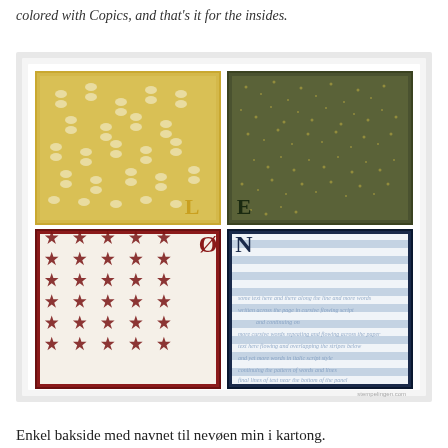colored with Copics, and that's it for the insides.
[Figure (photo): A greeting card with four patterned quadrants arranged in a 2x2 grid on a white background. Top-left: yellow background with white butterfly pattern, letter 'L' in bottom-right corner. Top-right: olive/dark green background with small gold speckle pattern, letter 'E' in bottom-left corner. Bottom-left: white background with dark red/maroon star pattern and dark red border, letter 'Ø' in top-right corner. Bottom-right: white and blue horizontal stripes with cursive script text overlaid, dark navy border, letter 'N' in top-left corner. The letters L, E, Ø, N spell 'LØEN'.]
Enkel bakside med navnet til nevøen min i kartong.